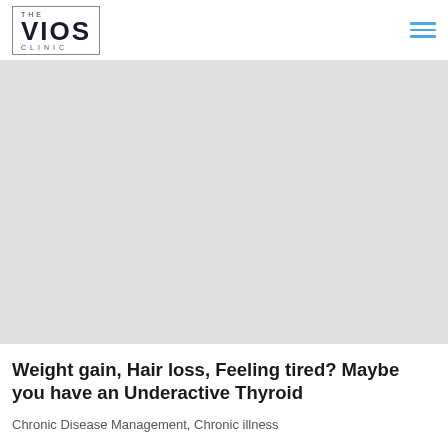THE VIOS CLINIC
[Figure (photo): Hero image area for a medical blog post about underactive thyroid, large grey placeholder area]
Weight gain, Hair loss, Feeling tired? Maybe you have an Underactive Thyroid
Chronic Disease Management, Chronic illness